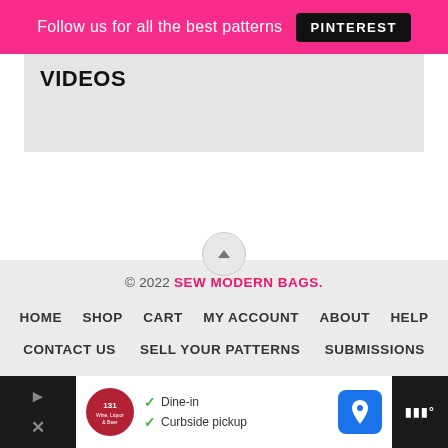Follow us for all the best patterns  PINTEREST
VIDEOS
© 2022 SEW MODERN BAGS.
HOME   SHOP   CART   MY ACCOUNT   ABOUT   HELP
CONTACT US   SELL YOUR PATTERNS   SUBMISSIONS
CURATION POLICY   DISCLOSURE AND PRIVACY
ACCESSIBILITY STATEMENT
EXCLUSIVE MEMBER OF MEDIAVINE HOME
[Figure (other): Advertisement bar at bottom: Wine Liquor & Beer restaurant ad with Dine-in and Curbside pickup indicators]